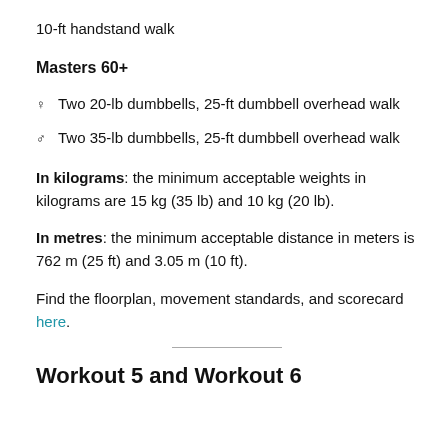10-ft handstand walk
Masters 60+
♀ Two 20-lb dumbbells, 25-ft dumbbell overhead walk
♂ Two 35-lb dumbbells, 25-ft dumbbell overhead walk
In kilograms: the minimum acceptable weights in kilograms are 15 kg (35 lb) and 10 kg (20 lb).
In metres: the minimum acceptable distance in meters is 762 m (25 ft) and 3.05 m (10 ft).
Find the floorplan, movement standards, and scorecard here.
Workout 5 and Workout 6